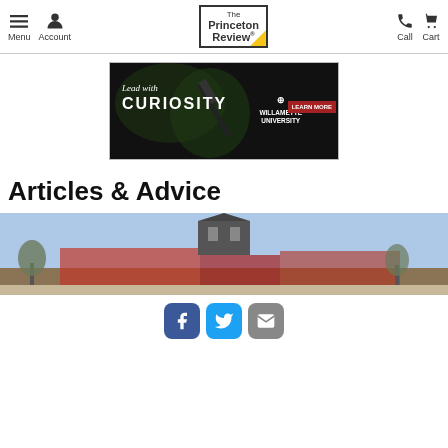The Princeton Review — Menu | Account | Call | Cart
[Figure (photo): Willamette University advertisement banner: 'Lead with CURIOSITY' text with students looking through telescope, LEARN MORE button]
Articles & Advice
[Figure (photo): Photograph of a brick university building with a clock tower against a blue sky, with bare trees in foreground]
[Figure (infographic): Social sharing icons row: Facebook (blue), Twitter (teal), Email (grey)]